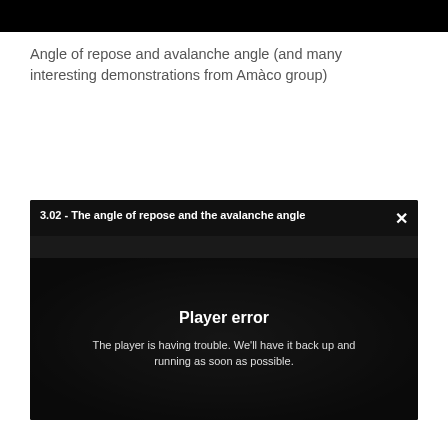[Figure (screenshot): Black bar at the top of the page, likely a navigation or header bar from a web interface.]
Angle of repose and avalanche angle (and many interesting demonstrations from Amàco group)
[Figure (screenshot): Embedded video player showing a player error message. The video is titled '3.02 - The angle of repose and the avalanche angle' by amàco. The overlay reads: 'Player error — The player is having trouble. We'll have it back up and running as soon as possible.']